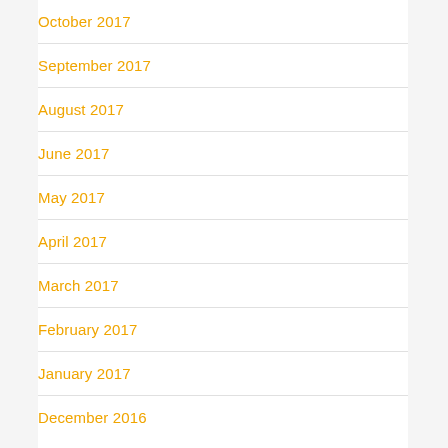October 2017
September 2017
August 2017
June 2017
May 2017
April 2017
March 2017
February 2017
January 2017
December 2016